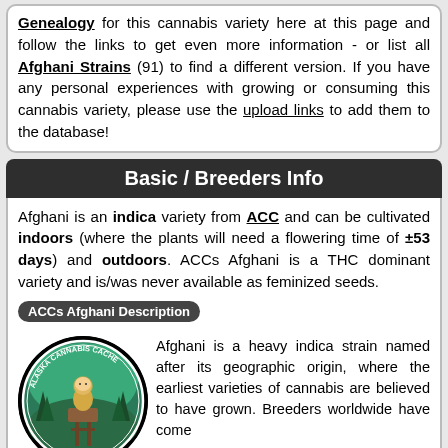Genealogy for this cannabis variety here at this page and follow the links to get even more information - or list all Afghani Strains (91) to find a different version. If you have any personal experiences with growing or consuming this cannabis variety, please use the upload links to add them to the database!
Basic / Breeders Info
Afghani is an indica variety from ACC and can be cultivated indoors (where the plants will need a flowering time of ±53 days) and outdoors. ACCs Afghani is a THC dominant variety and is/was never available as feminized seeds.
ACCs Afghani Description
[Figure (logo): Alaska Cannabis Cache circular logo with an Inuit figure on stilts surrounded by trees]
Afghani is a heavy indica strain named after its geographic origin, where the earliest varieties of cannabis are believed to have grown. Breeders worldwide have come